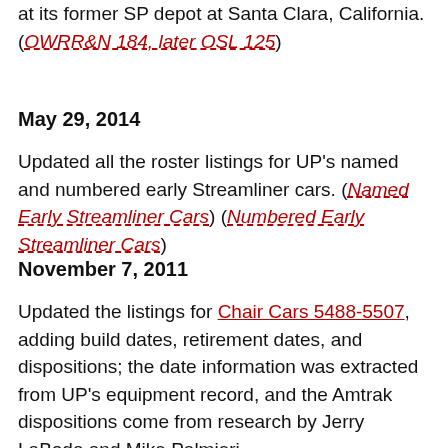at its former SP depot at Santa Clara, California. (OWRR&N 184, later OSL 125)
May 29, 2014
Updated all the roster listings for UP's named and numbered early Streamliner cars. (Named Early Streamliner Cars) (Numbered Early Streamliner Cars)
November 7, 2011
Updated the listings for Chair Cars 5488-5507, adding build dates, retirement dates, and dispositions; the date information was extracted from UP's equipment record, and the Amtrak dispositions come from research by Jerry LaBoda and Mike Palmieri.
April 8, 2011
Updated the dispositions for UP 5008, UP 5547, and